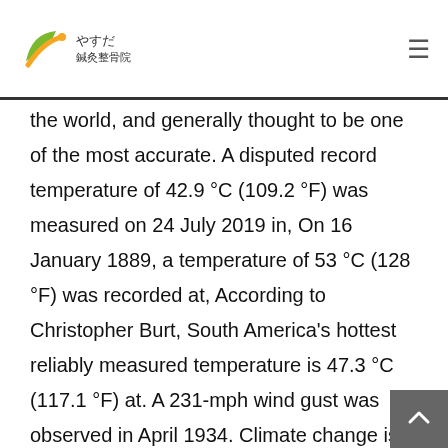やすだ 鍼灸整骨院
the world, and generally thought to be one of the most accurate. A disputed record temperature of 42.9 °C (109.2 °F) was measured on 24 July 2019 in, On 16 January 1889, a temperature of 53 °C (128 °F) was recorded at, According to Christopher Burt, South America's hottest reliably measured temperature is 47.3 °C (117.1 °F) at. A 231-mph wind gust was observed in April 1934. Climate change is expected to affect every country in the world, but its impact will not be felt equally across all regions. List of countries and territories by extreme temperatures. The former highest official temperature on Earth (held for 90 years by 'Aziziya, Libya) was